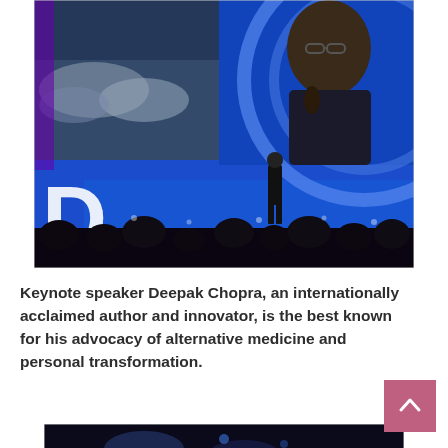[Figure (photo): Keynote speaker on stage at a conference. A person stands on a large blue-lit stage holding a microphone. Behind him is a large screen showing a close-up of the speaker wearing glasses. The left side of the screen shows clouds/sky imagery. Audience silhouettes are visible in the foreground.]
Keynote speaker Deepak Chopra, an internationally acclaimed author and innovator, is the best known for his advocacy of alternative medicine and personal transformation.
[Figure (photo): Partially visible second photo at bottom of page showing a dark conference or event scene.]